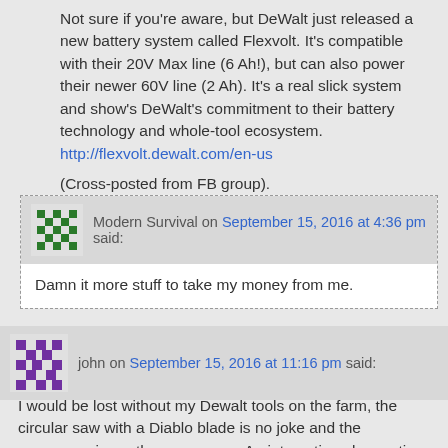Not sure if you're aware, but DeWalt just released a new battery system called Flexvolt. It's compatible with their 20V Max line (6 Ah!), but can also power their newer 60V line (2 Ah). It's a real slick system and show's DeWalt's commitment to their battery technology and whole-tool ecosystem.
http://flexvolt.dewalt.com/en-us

(Cross-posted from FB group).
Modern Survival on September 15, 2016 at 4:36 pm said:
Damn it more stuff to take my money from me.
john on September 15, 2016 at 11:16 pm said:
I would be lost without my Dewalt tools on the farm, the circular saw with a Diablo blade is no joke and the greasegun is worth every penny. An interesting observation, the 12V and 20V systems use the same charger, though the 20V impact driver can get most anywhere my old Bosch on could…